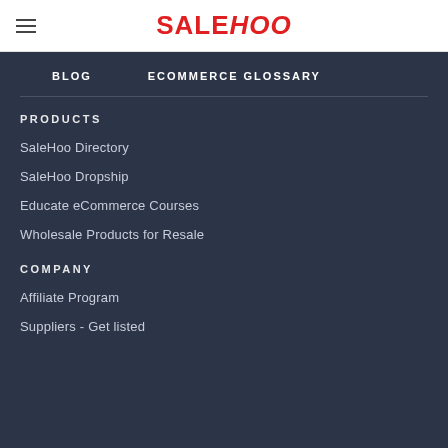SaleHoo
BLOG
ECOMMERCE GLOSSARY
PRODUCTS
SaleHoo Directory
SaleHoo Dropship
Educate eCommerce Courses
Wholesale Products for Resale
COMPANY
Affiliate Program
Suppliers - Get listed